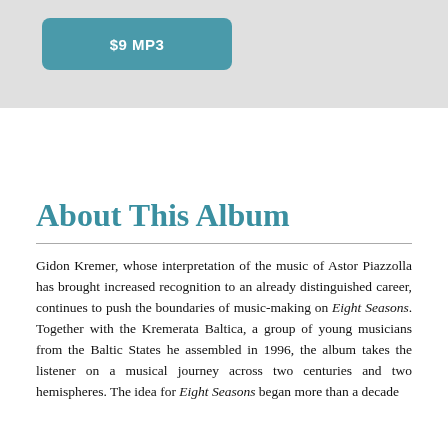[Figure (other): Teal/blue rounded rectangle button with white text '$9 MP3' on a light gray background section]
About This Album
Gidon Kremer, whose interpretation of the music of Astor Piazzolla has brought increased recognition to an already distinguished career, continues to push the boundaries of music-making on Eight Seasons. Together with the Kremerata Baltica, a group of young musicians from the Baltic States he assembled in 1996, the album takes the listener on a musical journey across two centuries and two hemispheres. The idea for Eight Seasons began more than a decade